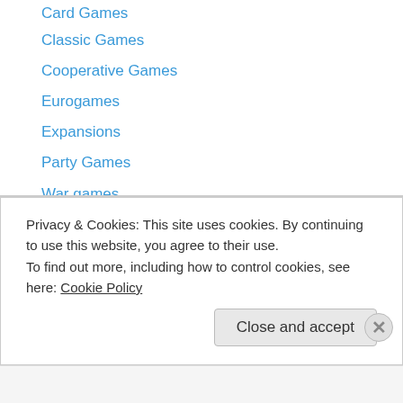Card Games
Classic Games
Cooperative Games
Eurogames
Expansions
Party Games
War games
Confessions of a Blu-ray Collector
Movie Reviews
2008 reviews
2009 reviews
2010 reviews
2011 Reviews
2012 Reviews
Privacy & Cookies: This site uses cookies. By continuing to use this website, you agree to their use.
To find out more, including how to control cookies, see here: Cookie Policy
Close and accept